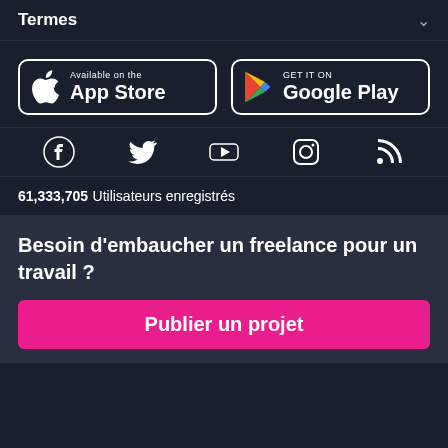Termes
[Figure (logo): App Store badge - Available on the App Store]
[Figure (logo): Google Play badge - GET IT ON Google Play]
[Figure (infographic): Social media icons: Facebook, Twitter, YouTube, Instagram, RSS]
61,333,705 Utilisateurs enregistrés
Besoin d'embaucher un freelance pour un travail ?
Publier un projet